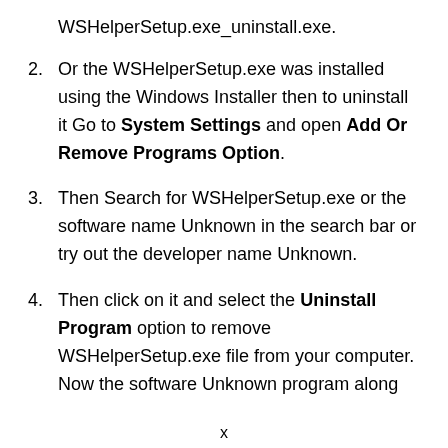WSHelperSetup.exe_uninstall.exe.
2. Or the WSHelperSetup.exe was installed using the Windows Installer then to uninstall it Go to System Settings and open Add Or Remove Programs Option.
3. Then Search for WSHelperSetup.exe or the software name Unknown in the search bar or try out the developer name Unknown.
4. Then click on it and select the Uninstall Program option to remove WSHelperSetup.exe file from your computer. Now the software Unknown program along